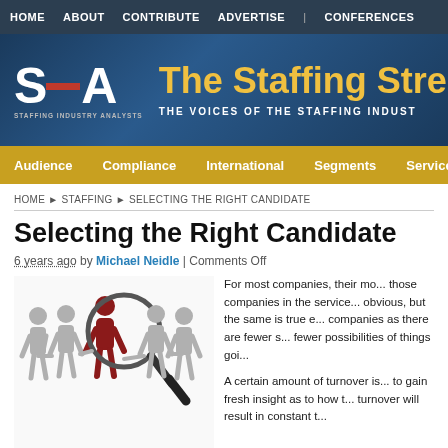HOME   ABOUT   CONTRIBUTE   ADVERTISE   |   CONFERENCES
[Figure (logo): SIA Staffing Industry Analysts logo with 'The Staffing Stre...' banner header and subtitle 'THE VOICES OF THE STAFFING INDUST...']
Audience   Compliance   International   Segments   Services
HOME › STAFFING › SELECTING THE RIGHT CANDIDATE
Selecting the Right Candidate
6 years ago by Michael Neidle | Comments Off
[Figure (illustration): Illustration of a row of grey human figures with one red/dark figure in the center highlighted by a magnifying glass, representing candidate selection.]
For most companies, their mo... those companies in the service... obvious, but the same is true e... companies as there are fewer s... fewer possibilities of things goi...
A certain amount of turnover is... to gain fresh insight as to how t... turnover will result in constant t...